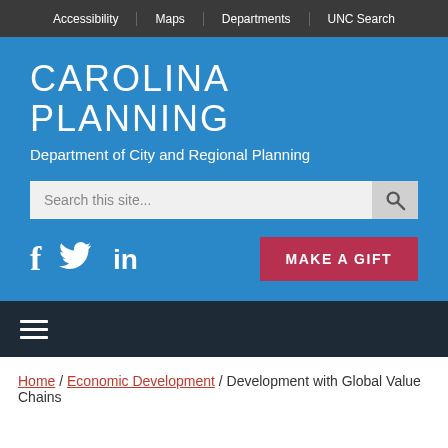Accessibility | Maps | Departments | UNC Search
CAROLINA PLANNING
Department of City and Regional Planning
Search this site...
MAKE A GIFT
≡ (menu)
Home / Economic Development / Development with Global Value Chains